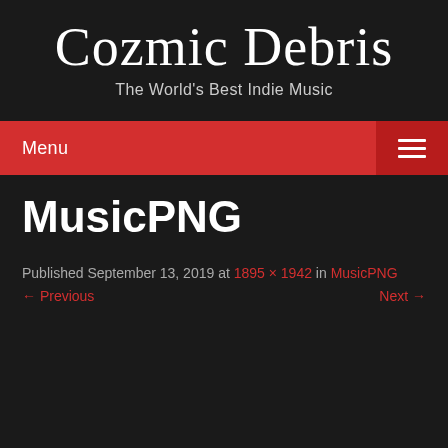Cozmic Debris
The World's Best Indie Music
Menu
MusicPNG
Published September 13, 2019 at 1895 × 1942 in MusicPNG
← Previous   Next →